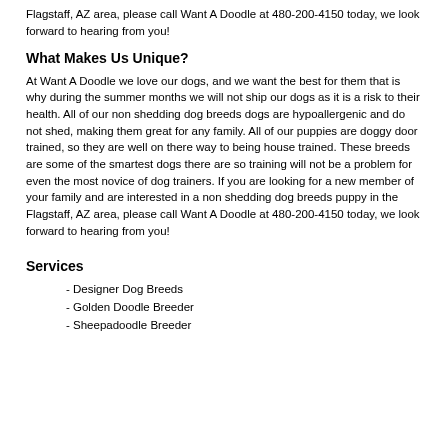Flagstaff, AZ area, please call Want A Doodle at 480-200-4150 today, we look forward to hearing from you!
What Makes Us Unique?
At Want A Doodle we love our dogs, and we want the best for them that is why during the summer months we will not ship our dogs as it is a risk to their health. All of our non shedding dog breeds dogs are hypoallergenic and do not shed, making them great for any family. All of our puppies are doggy door trained, so they are well on there way to being house trained. These breeds are some of the smartest dogs there are so training will not be a problem for even the most novice of dog trainers. If you are looking for a new member of your family and are interested in a non shedding dog breeds puppy in the Flagstaff, AZ area, please call Want A Doodle at 480-200-4150 today, we look forward to hearing from you!
Services
- Designer Dog Breeds
- Golden Doodle Breeder
- Sheepadoodle Breeder